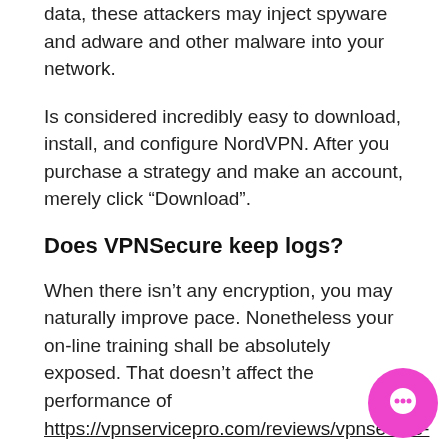data, these attackers may inject spyware and adware and other malware into your network.
Is considered incredibly easy to download, install, and configure NordVPN. After you purchase a strategy and make an account, merely click “Download”.
Does VPNSecure keep logs?
When there isn’t any encryption, you may naturally improve pace. Nonetheless your on-line training shall be absolutely exposed. That doesn’t affect the performance of https://vpnservicepro.com/reviews/vpnsecure-review/ the VPN and also the simplicity of this navigation. The app is not hard and simple to use.
Posted on March 16, 2020 Author admin Categories